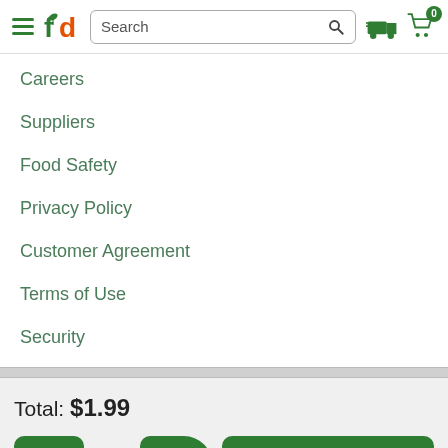fd Search [search icon] [delivery icon] [cart 0]
Careers
Suppliers
Food Safety
Privacy Policy
Customer Agreement
Terms of Use
Security
Total: $1.99
- 1 + Add to Cart